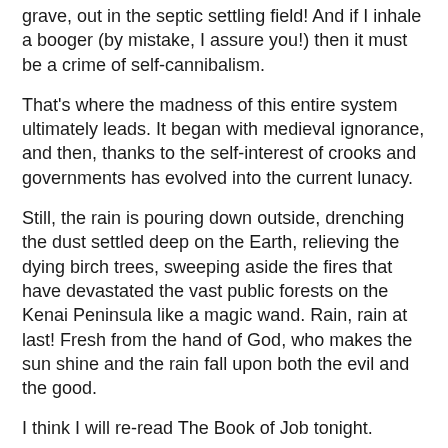grave, out in the septic settling field!  And if I inhale a booger (by mistake, I assure you!) then it must be a crime of self-cannibalism.
That's where the madness of this entire system ultimately leads. It began with medieval ignorance, and then, thanks to the self-interest of crooks and governments has evolved into the current lunacy.
Still, the rain is pouring down outside, drenching the dust settled deep on the Earth, relieving the dying birch trees, sweeping aside the fires that have devastated the vast public forests on the Kenai Peninsula like a magic wand. Rain, rain at last!  Fresh from the hand of God, who makes the sun shine and the rain fall upon both the evil and the good.
I think I will re-read The Book of Job tonight.
Whether it makes sense to anyone else at all, I believe in an everlasting and true Creator, a Being that inhabits and enlightens us all, a Living God that gives us life and every good thing--- and which we can never describe or second-